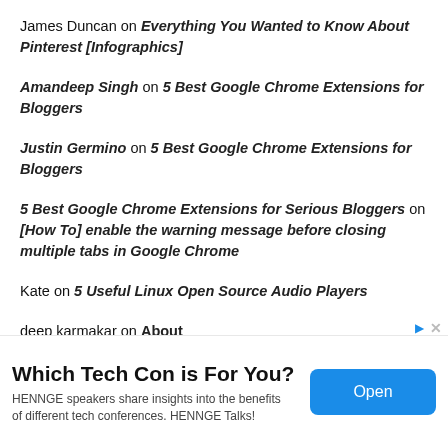James Duncan on Everything You Wanted to Know About Pinterest [Infographics]
Amandeep Singh on 5 Best Google Chrome Extensions for Bloggers
Justin Germino on 5 Best Google Chrome Extensions for Bloggers
5 Best Google Chrome Extensions for Serious Bloggers on [How To] enable the warning message before closing multiple tabs in Google Chrome
Kate on 5 Useful Linux Open Source Audio Players
deep karmakar on About
Amandeep Singh on About
deep Singh on Top 5 Android Facebook Apps for 2012
[Figure (other): Advertisement banner: Which Tech Con is For You? HENNGE speakers share insights into the benefits of different tech conferences. HENNGE Talks! with Open button]